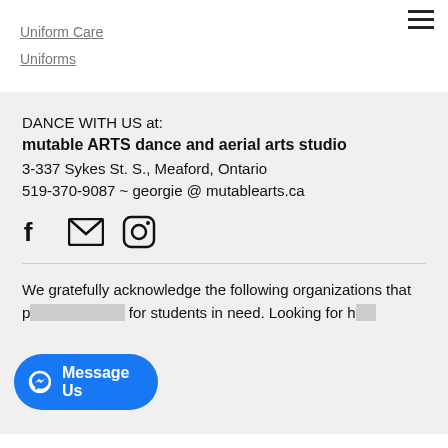Uniform Care
Uniforms
DANCE WITH US at:
mutable ARTS dance and aerial arts studio
3-337 Sykes St. S., Meaford, Ontario
519-370-9087 ~ georgie @ mutablearts.ca
[Figure (infographic): Social media icons: Facebook, email (envelope), Instagram]
We gratefully acknowledge the following organizations that p[rovide funding] for students in need. Looking for h[elp]
[Figure (screenshot): Blue Messenger 'Message Us' button overlay at bottom left]